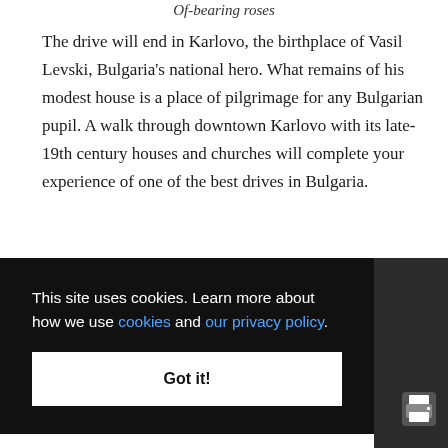Of-bearing roses
The drive will end in Karlovo, the birthplace of Vasil Levski, Bulgaria's national hero. What remains of his modest house is a place of pilgrimage for any Bulgarian pupil. A walk through downtown Karlovo with its late-19th century houses and churches will complete your experience of one of the best drives in Bulgaria.
This site uses cookies. Learn more about how we use cookies and our privacy policy. Got it!